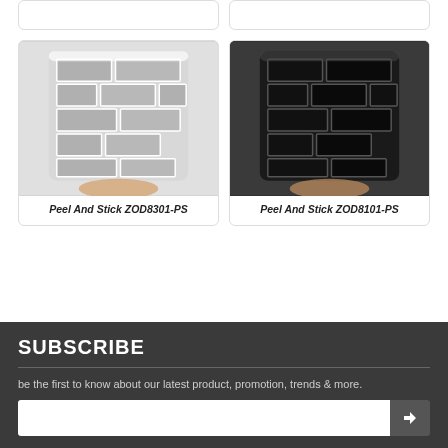[Figure (photo): Two partial product cards visible at the top of the page (cropped)]
[Figure (photo): Hand holding a rolled peel-and-stick tile sheet in light grey/white tones with brick pattern]
Peel And Stick ZOD8301-PS
[Figure (photo): Hand holding a rolled peel-and-stick tile sheet in black tones with brick pattern]
Peel And Stick ZOD8101-PS
SUBSCRIBE
be the first to know about our latest product, promotion, trends & more.